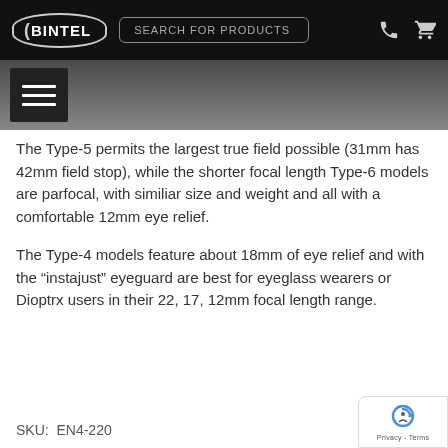BINTEL | SEARCH FOR PRODUCTS
The Type-5 permits the largest true field possible (31mm has 42mm field stop), while the shorter focal length Type-6 models are parfocal, with similiar size and weight and all with a comfortable 12mm eye relief.
The Type-4 models feature about 18mm of eye relief and with the “instajust” eyeguard are best for eyeglass wearers or Dioptrx users in their 22, 17, 12mm focal length range.
SKU:  EN4-220